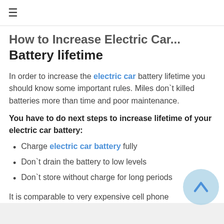≡
How to Increase Electric Car Battery lifetime
In order to increase the electric car battery lifetime you should know some important rules. Miles don`t killed batteries more than time and poor maintenance.
You have to do next steps to increase lifetime of your electric car battery:
Charge electric car battery fully
Don`t drain the battery to low levels
Don`t store without charge for long periods
It is comparable to very expensive cell phone